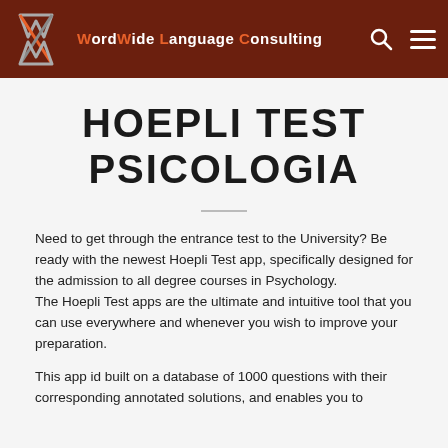WordWide Language Consulting
HOEPLI TEST PSICOLOGIA
Need to get through the entrance test to the University? Be ready with the newest Hoepli Test app, specifically designed for the admission to all degree courses in Psychology. The Hoepli Test apps are the ultimate and intuitive tool that you can use everywhere and whenever you wish to improve your preparation.
This app id built on a database of 1000 questions with their corresponding annotated solutions, and enables you to